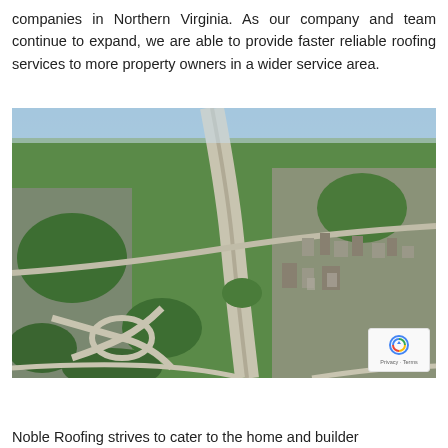companies in Northern Virginia. As our company and team continue to expand, we are able to provide faster reliable roofing services to more property owners in a wider service area.
[Figure (photo): Aerial photograph of Northern Virginia showing highways and suburban/urban development from above]
Noble Roofing strives to cater to the home and builder